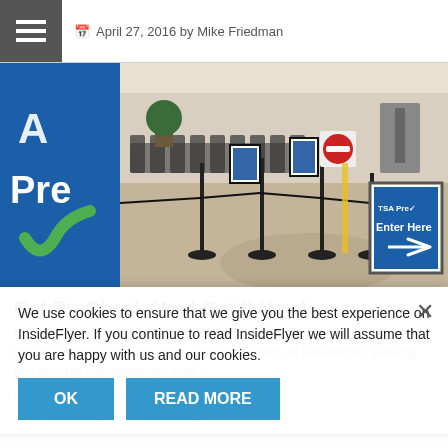April 27, 2016 by Mike Friedman
[Figure (photo): TSA PreCheck airport security lane with blue TSA Pre banner, stanchions, and an 'Enter Here' sign with arrow]
Get PreCheck (And Get It Now)
It's almost summer and we know what that means: Hordes of travelers will be waiting in security lines. With thousands of passengers passing this security checkpoint yourself... Continue Reading
April 26, 2016 by Mike Friedman
We use cookies to ensure that we give you the best experience on InsideFlyer. If you continue to read InsideFlyer we will assume that you are happy with us and our cookies.